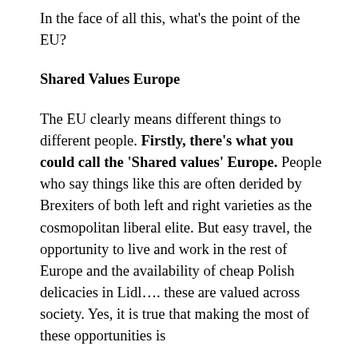In the face of all this, what's the point of the EU?
Shared Values Europe
The EU clearly means different things to different people. Firstly, there's what you could call the 'Shared values' Europe. People who say things like this are often derided by Brexiters of both left and right varieties as the cosmopolitan liberal elite. But easy travel, the opportunity to live and work in the rest of Europe and the availability of cheap Polish delicacies in Lidl…. these are valued across society. Yes, it is true that making the most of these opportunities is